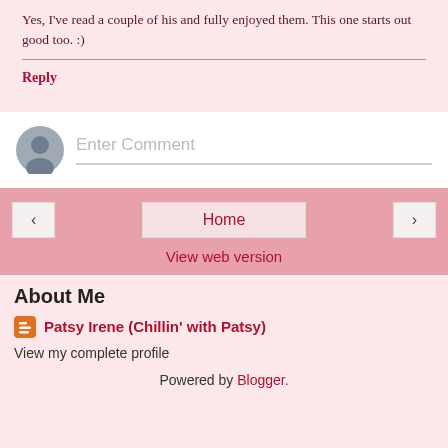Yes, I've read a couple of his and fully enjoyed them. This one starts out good too. :)
Reply
[Figure (other): Comment entry box with avatar icon and 'Enter Comment' placeholder text]
[Figure (other): Navigation bar with left arrow, Home button, right arrow, and View web version link]
About Me
Patsy Irene (Chillin' with Patsy)
View my complete profile
Powered by Blogger.